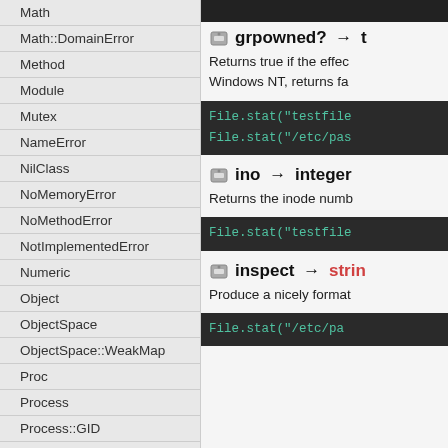Math
Math::DomainError
Method
Module
Mutex
NameError
NilClass
NoMemoryError
NoMethodError
NotImplementedError
Numeric
Object
ObjectSpace
ObjectSpace::WeakMap
Proc
Process
Process::GID
Process::Status
Process::Sys
Process::UID
Queue
grpowned? → t
Returns true if the effec
Windows NT, returns fa
File.stat("testfile
File.stat("/etc/pas
ino → integer
Returns the inode numb
File.stat("testfile
inspect → strin
Produce a nicely format
File.stat("/etc/pa